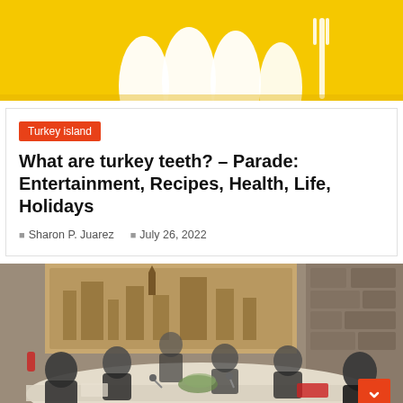[Figure (photo): Dental/teeth themed image on yellow background — white tooth shapes visible against bright yellow background]
Turkey island
What are turkey teeth? – Parade: Entertainment, Recipes, Health, Life, Holidays
Sharon P. Juarez   July 26, 2022
[Figure (photo): People seated around a conference table in a formal meeting room with a large mural/tapestry of a cityscape on the wall behind them. Stone wall visible on right side.]